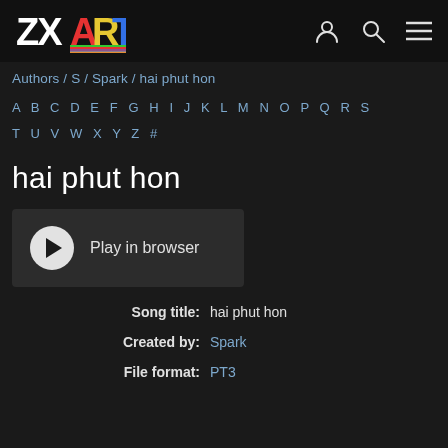ZXART — Authors / S / Spark / hai phut hon
Authors / S / Spark / hai phut hon
A B C D E F G H I J K L M N O P Q R S T U V W X Y Z #
hai phut hon
[Figure (other): Play in browser button with circular play icon]
| Field | Value |
| --- | --- |
| Song title: | hai phut hon |
| Created by: | Spark |
| File format: | PT3 |